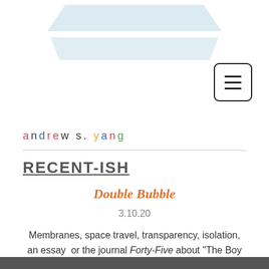[Figure (logo): Two light blue trapezoid/chevron shapes stacked, forming a logo at the top center of the page]
[Figure (other): Hamburger menu button: square with rounded corners containing three horizontal lines]
andrew s. yang
RECENT-ISH
Double Bubble
3.10.20
Membranes, space travel, transparency, isolation, an essay  or the journal Forty-Five about "The Boy in the Plastic Bubble."